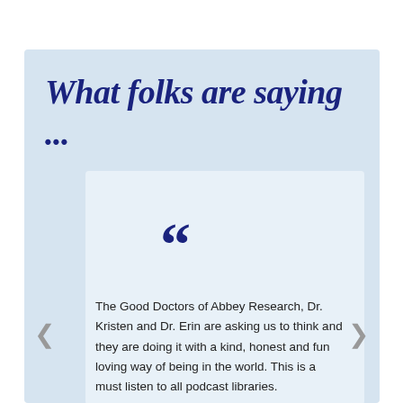What folks are saying ...
The Good Doctors of Abbey Research, Dr. Kristen and Dr. Erin are asking us to think and they are doing it with a kind, honest and fun loving way of being in the world. This is a must listen to all podcast libraries.